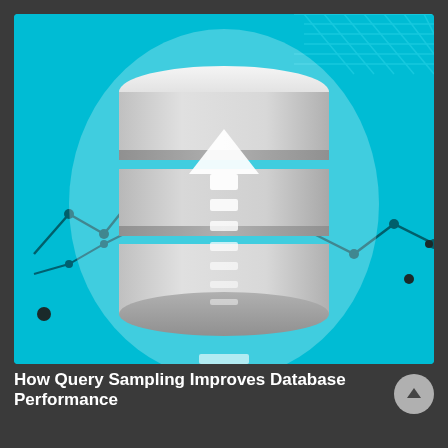[Figure (illustration): Thumbnail image showing a 3D database cylinder icon (stacked silver disks with an upward arrow/upload symbol) on a teal/cyan background with line graph elements in the corners.]
How Query Sampling Improves Database Performance